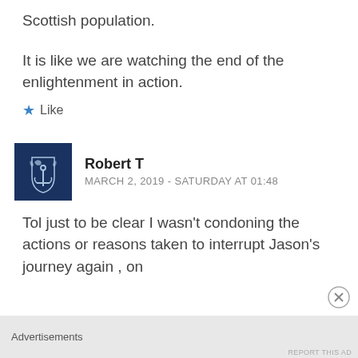Scottish population.
It is like we are watching the end of the enlightenment in action.
★ Like
Robert T
MARCH 2, 2019 - SATURDAY AT 01:48
Tol just to be clear I wasn't condoning the actions or reasons taken to interrupt Jason's journey again , on
Advertisements